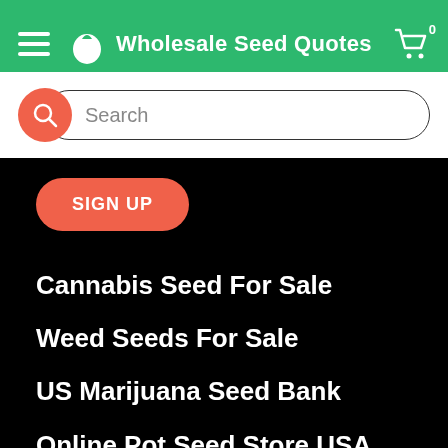Wholesale Seed Quotes
Search
SIGN UP
Cannabis Seed For Sale
Weed Seeds For Sale
US Marijuana Seed Bank
Online Pot Seed Store USA
Pot Seeds For Sale Today
Sale Page For index...